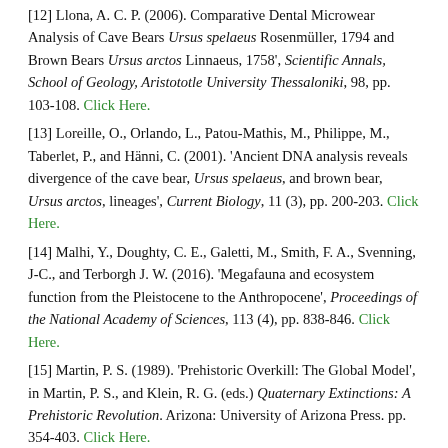[12] Llona, A. C. P. (2006). Comparative Dental Microwear Analysis of Cave Bears Ursus spelaeus Rosenmüller, 1794 and Brown Bears Ursus arctos Linnaeus, 1758', Scientific Annals, School of Geology, Aristototle University Thessaloniki, 98, pp. 103-108. Click Here.
[13] Loreille, O., Orlando, L., Patou-Mathis, M., Philippe, M., Taberlet, P., and Hänni, C. (2001). 'Ancient DNA analysis reveals divergence of the cave bear, Ursus spelaeus, and brown bear, Ursus arctos, lineages', Current Biology, 11 (3), pp. 200-203. Click Here.
[14] Malhi, Y., Doughty, C. E., Galetti, M., Smith, F. A., Svenning, J-C., and Terborgh J. W. (2016). 'Megafauna and ecosystem function from the Pleistocene to the Anthropocene', Proceedings of the National Academy of Sciences, 113 (4), pp. 838-846. Click Here.
[15] Martin, P. S. (1989). 'Prehistoric Overkill: The Global Model', in Martin, P. S., and Klein, R. G. (eds.) Quaternary Extinctions: A Prehistoric Revolution. Arizona: University of Arizona Press. pp. 354-403. Click Here.
[16] Münzel, S. C., and Conard, N. J. (2004). 'Cave Bear Hunting in the Hohle Fels, a Cave Site in the Ach Valley, Swabian Jura', Revue de Paléobiologie, 23 (2), pp. 877-885. Click Here.
[17] Orlando, L., Bonjean, D., Bocherens, H., Thenot, A., Argant, A., Otte, M., and Hänni, C. (2002). 'Ancient DNA and the Population Genetics of